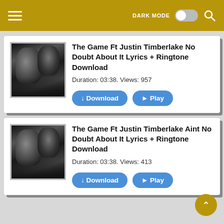DARK MODE [toggle] [search icon]
The Game Ft Justin Timberlake No Doubt About It Lyrics + Ringtone Download
Duration: 03:38. Views: 957
↓ Download   ► Play
The Game Ft Justin Timberlake Aint No Doubt About It Lyrics + Ringtone Download
Duration: 03:38. Views: 413
↓ Download   ► Play